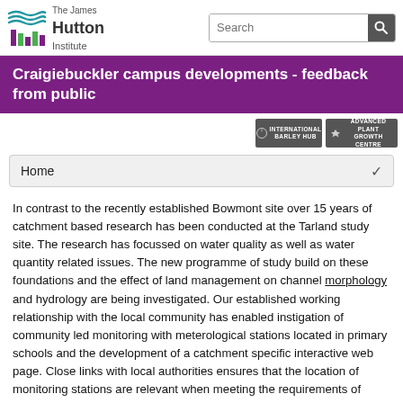[Figure (logo): The James Hutton Institute logo with stylized wave and bar graphic, search bar to the right]
Craigiebuckler campus developments - feedback from public
[Figure (logo): International Barley Hub and Advanced Plant Growth Centre badges]
Home
In contrast to the recently established Bowmont site over 15 years of catchment based research has been conducted at the Tarland study site. The research has focussed on water quality as well as water quantity related issues. The new programme of study build on these foundations and the effect of land management on channel morphology and hydrology are being investigated. Our established working relationship with the local community has enabled instigation of community led monitoring with meterological stations located in primary schools and the development of a catchment specific interactive web page. Close links with local authorities ensures that the location of monitoring stations are relevant when meeting the requirements of WFD and our data is to be used to